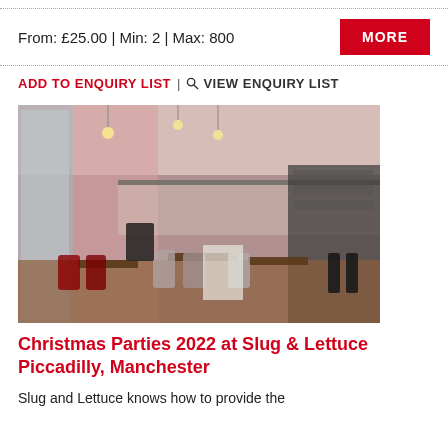From: £25.00 | Min: 2 | Max: 800
MORE
ADD TO ENQUIRY LIST | VIEW ENQUIRY LIST
[Figure (photo): Interior of Slug & Lettuce Piccadilly, Manchester showing a two-level venue with pendant lights, red chairs, grey upholstered seating, wooden tables, and a mezzanine level with railings.]
Christmas Parties 2022 at Slug & Lettuce Piccadilly, Manchester
Slug and Lettuce knows how to provide the